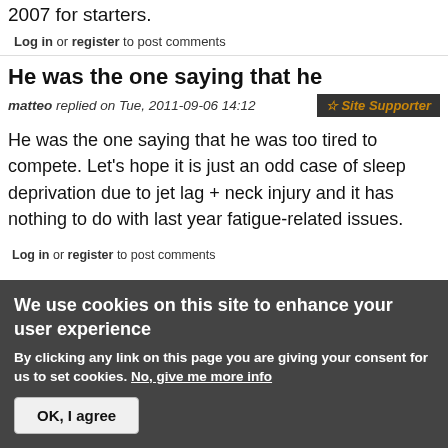2007 for starters.
Log in or register to post comments
He was the one saying that he
matteo replied on Tue, 2011-09-06 14:12
Site Supporter
He was the one saying that he was too tired to compete. Let's hope it is just an odd case of sleep deprivation due to jet lag + neck injury and it has nothing to do with last year fatigue-related issues.
Log in or register to post comments
We use cookies on this site to enhance your user experience
By clicking any link on this page you are giving your consent for us to set cookies. No, give me more info
OK, I agree